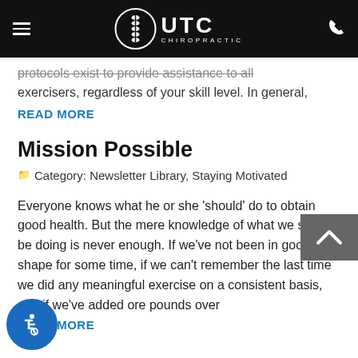UTC Chiropractic
protocols exist to provide assistance to all exercisers, regardless of your skill level. In general,
READ MORE
Mission Possible
Category: Newsletter Library, Staying Motivated
Everyone knows what he or she 'should' do to obtain good health. But the mere knowledge of what we should be doing is never enough. If we've not been in good shape for some time, if we can remember the last time we did any meaningful exercise on a consistent basis, and if we've added ore pounds over
READ MORE